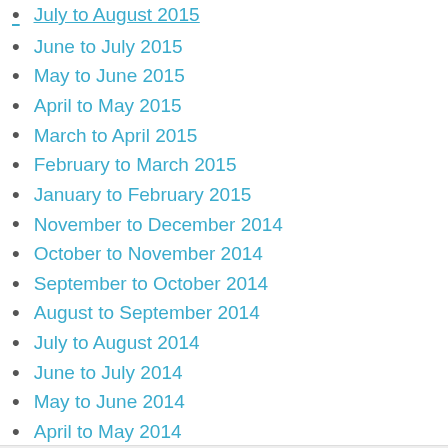July to August 2015 (partial, cut off at top)
June to July 2015
May to June 2015
April to May 2015
March to April 2015
February to March 2015
January to February 2015
November to December 2014
October to November 2014
September to October 2014
August to September 2014
July to August 2014
June to July 2014
May to June 2014
April to May 2014
March to April 2014
February to March 2014